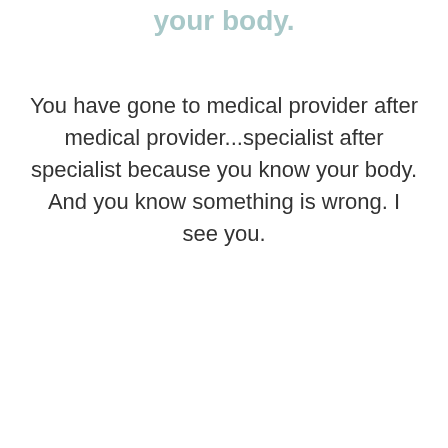your body.
You have gone to medical provider after medical provider...specialist after specialist because you know your body. And you know something is wrong. I see you.